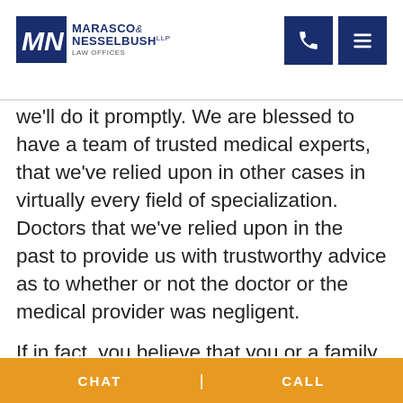Marasco & Nesselbush LLP Law Offices
we'll do it promptly. We are blessed to have a team of trusted medical experts, that we've relied upon in other cases in virtually every field of specialization. Doctors that we've relied upon in the past to provide us with trustworthy advice as to whether or not the doctor or the medical provider was negligent.
If in fact, you believe that you or a family member has been the victim of medical malpractice, like a cancer misdiagnosis, it's
CHAT | CALL